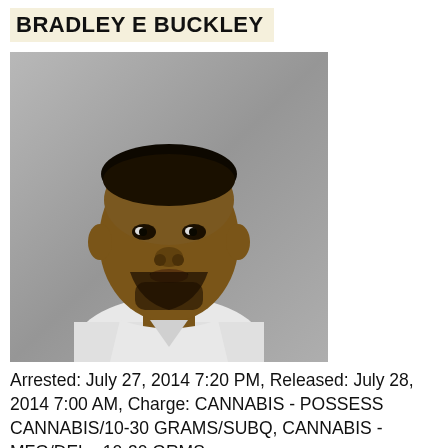BRADLEY E BUCKLEY
[Figure (photo): Mugshot/booking photo of Bradley E Buckley, a man wearing a white t-shirt against a grey background]
Arrested: July 27, 2014 7:20 PM, Released: July 28, 2014 7:00 AM, Charge: CANNABIS - POSSESS CANNABIS/10-30 GRAMS/SUBQ, CANNABIS - MFG/DEL - 10-30 GRMS